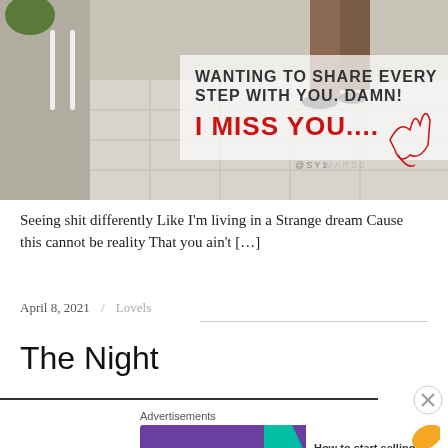[Figure (photo): Photo of a person's feet and legs on a tiled surface near white furniture, with overlaid text reading 'WANTING TO SHARE EVERY STEP WITH YOU. DAMN! I MISS YOU....' and a signature and @SYLEEMORSE handle]
Seeing shit differently Like I'm living in a Strange dream Cause this cannot be reality That you ain't […]
April 8, 2021 / Lovels
The Night
[Figure (infographic): WooCommerce advertisement banner reading 'How to start selling subscriptions online']